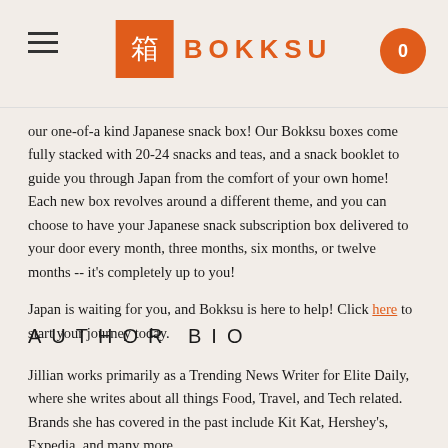BOKKSU
our one-of-a kind Japanese snack box! Our Bokksu boxes come fully stacked with 20-24 snacks and teas, and a snack booklet to guide you through Japan from the comfort of your own home! Each new box revolves around a different theme, and you can choose to have your Japanese snack subscription box delivered to your door every month, three months, six months, or twelve months -- it's completely up to you!
Japan is waiting for you, and Bokksu is here to help! Click here to start your journey today.
AUTHOR BIO
Jillian works primarily as a Trending News Writer for Elite Daily, where she writes about all things Food, Travel, and Tech related. Brands she has covered in the past include Kit Kat, Hershey's, Expedia, and many more.